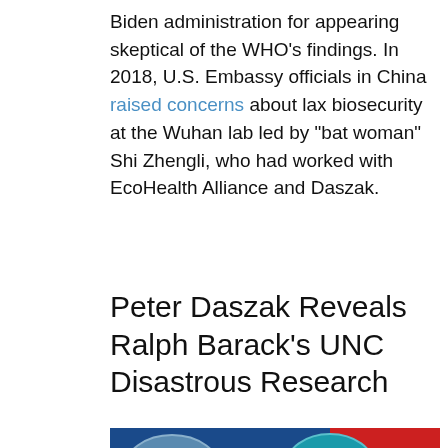Biden administration for appearing skeptical of the WHO’s findings. In 2018, U.S. Embassy officials in China raised concerns about lax biosecurity at the Wuhan lab led by “bat woman” Shi Zhengli, who had worked with EcoHealth Alliance and Daszak.
Peter Daszak Reveals Ralph Barack’s UNC Disastrous Research
[Figure (photo): TV screenshot showing a TV host with DARPA, Pfizer, NIH logos overlaid on a blue background, with a Chinese flag and a woman in protective gear on the right side]